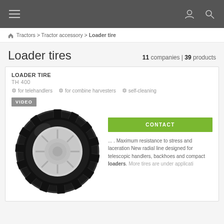Navigation bar with menu, user, and search icons
🏠 Tractors > Tractor accessory > Loader tire
Loader tires
11 companies | 39 products
LOADER TIRE
TH 400
for telehandlers
for combine harvesters
self-cleaning
[Figure (photo): Black agricultural loader tire with white rim, showing deep tread pattern for telehandlers]
VIDEO
CONTACT
... . Maximum resistance to stress and laceration New radial line designed for telescopic handlers, backhoes and compact loaders. More tires are under development.